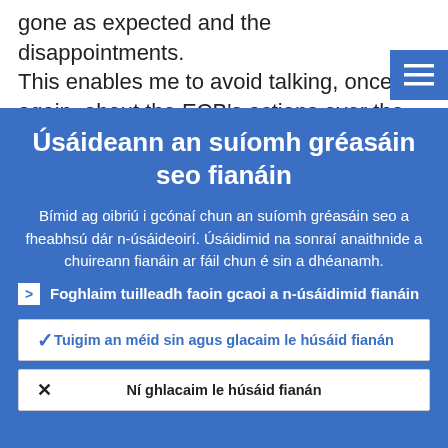gone as expected and the disappointments. This enables me to avoid talking, once again, about the ECB's actions over the las…
Úsáideann an suíomh gréasáin seo fianáin
Bímid ag oibriú i gcónaí chun an suíomh gréasáin seo a fheabhsú dár n-úsáideoirí. Úsáidimid na sonraí anaithnide a chuireann fianáin ar fáil chun é sin a dhéanamh.
Foghlaim tuilleadh faoin gcaoi a n-úsáidimid fianáin
Tuigim an méid sin agus glacaim le húsáid fianán
Ní ghlacaim le húsáid fianán